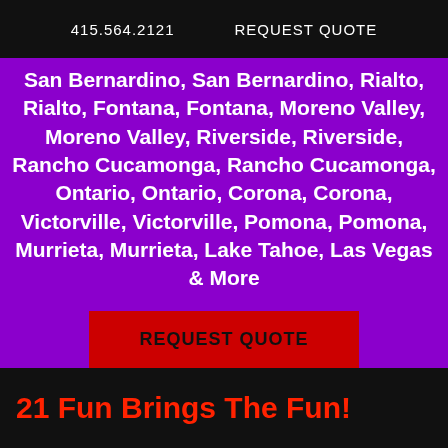415.564.2121   REQUEST QUOTE
San Bernardino, San Bernardino, Rialto, Rialto, Fontana, Fontana, Moreno Valley, Moreno Valley, Riverside, Riverside, Rancho Cucamonga, Rancho Cucamonga, Ontario, Ontario, Corona, Corona, Victorville, Victorville, Pomona, Pomona, Murrieta, Murrieta, Lake Tahoe, Las Vegas & More
REQUEST QUOTE
21 Fun Brings The Fun!